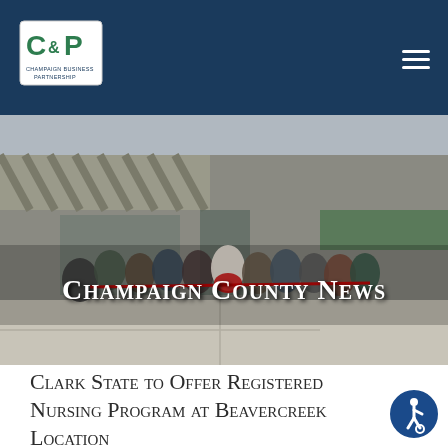CCP Champaign Business Partnership — navigation bar with logo and menu
[Figure (photo): Group of people standing in front of a storefront with a striped awning, holding a red ribbon for a ribbon-cutting ceremony. White text overlay reads 'Champaign County News'.]
Clark State to Offer Registered Nursing Program at Beavercreek Location